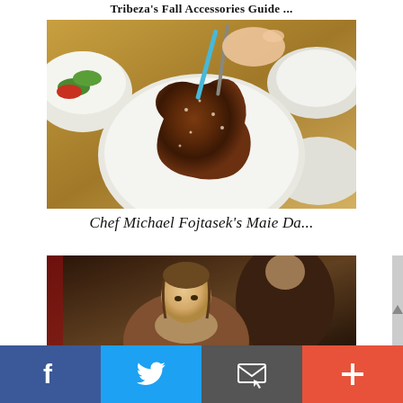Tribeza's Fall Accessories Guide ...
[Figure (photo): A hand with teal fingernails using a fork and knife to cut into a large, thick, seasoned steak on a white plate, surrounded by other dishes on a wooden table.]
Chef Michael Fojtasek's Maie Da...
[Figure (photo): A classical Renaissance-style painting showing a young person with braided hair in the foreground and a darker-robed figure behind.]
[Figure (infographic): Social share bar with four buttons: Facebook (blue), Twitter (light blue), Email (dark gray), and More/Plus (red-orange).]